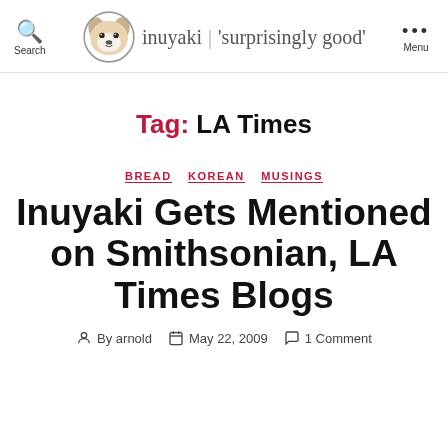Search | inuyaki | 'surprisingly good' | Menu
Tag: LA Times
BREAD   KOREAN   MUSINGS
Inuyaki Gets Mentioned on Smithsonian, LA Times Blogs
By arnold   May 22, 2009   1 Comment